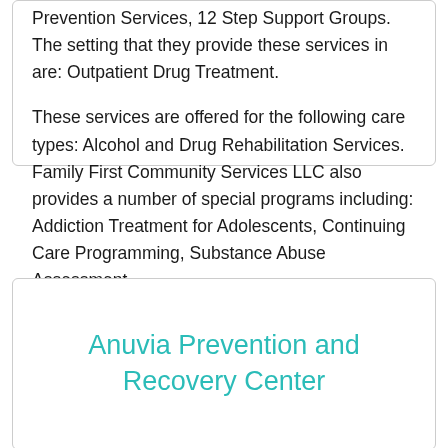Prevention Services, 12 Step Support Groups. The setting that they provide these services in are: Outpatient Drug Treatment.

These services are offered for the following care types: Alcohol and Drug Rehabilitation Services. Family First Community Services LLC also provides a number of special programs including: Addiction Treatment for Adolescents, Continuing Care Programming, Substance Abuse Assessment.
Anuvia Prevention and Recovery Center